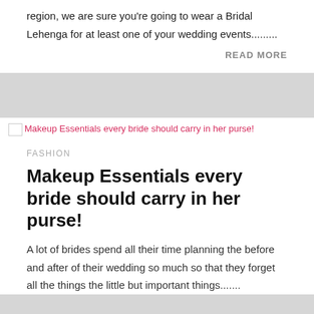Whether you hail from the Punjab or are from a South Indian region, we are sure you're going to wear a Bridal Lehenga for at least one of your wedding events.........
READ MORE
[Figure (photo): Makeup Essentials every bride should carry in her purse! (image placeholder with alt text link)]
FASHION
Makeup Essentials every bride should carry in her purse!
A lot of brides spend all their time planning the before and after of their wedding so much so that they forget all the things the little but important things.......
READ MORE